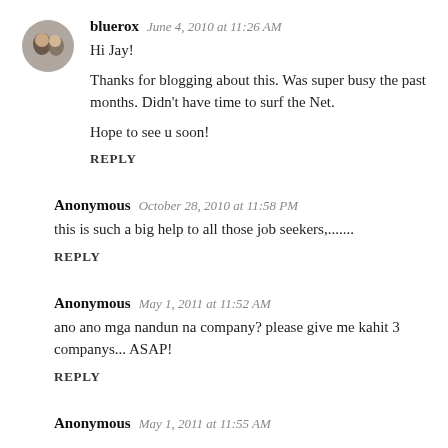bluerox  June 4, 2010 at 11:26 AM
Hi Jay!
Thanks for blogging about this. Was super busy the past months. Didn't have time to surf the Net.
Hope to see u soon!
REPLY
Anonymous  October 28, 2010 at 11:58 PM
this is such a big help to all those job seekers,.......
REPLY
Anonymous  May 1, 2011 at 11:52 AM
ano ano mga nandun na company? please give me kahit 3 companys... ASAP!
REPLY
Anonymous  May 1, 2011 at 11:55 AM